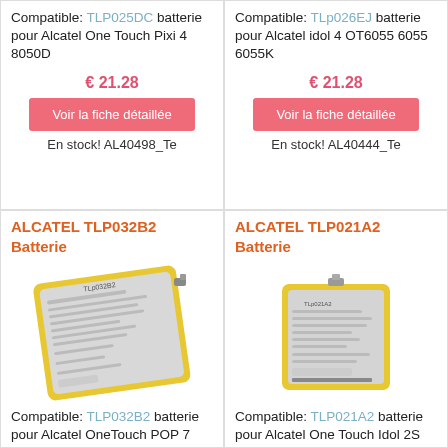Compatible: TLP025DC batterie pour Alcatel One Touch Pixi 4 8050D
€ 21.28
Voir la fiche détaillée
En stock! AL40498_Te
Compatible: TLp026EJ batterie pour Alcatel idol 4 OT6055 6055 6055K
€ 21.28
Voir la fiche détaillée
En stock! AL40444_Te
ALCATEL TLP032B2 Batterie
[Figure (photo): Photo of Alcatel TLP032B2 battery with yellow border and label]
Compatible: TLP032B2 batterie pour Alcatel OneTouch POP 7 P310A Pixi
ALCATEL TLP021A2 Batterie
[Figure (photo): Photo of Alcatel TLP021A2 battery with yellow border and label]
Compatible: TLP021A2 batterie pour Alcatel One Touch Idol 2S OT-6050